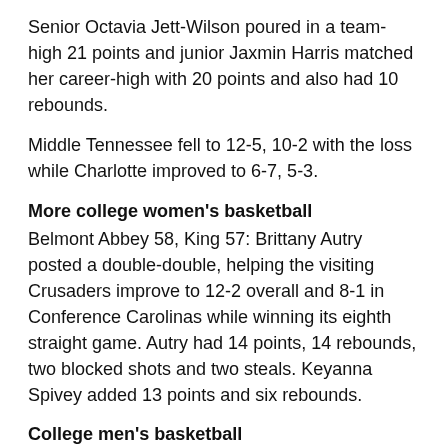Senior Octavia Jett-Wilson poured in a team-high 21 points and junior Jaxmin Harris matched her career-high with 20 points and also had 10 rebounds.
Middle Tennessee fell to 12-5, 10-2 with the loss while Charlotte improved to 6-7, 5-3.
More college women's basketball
Belmont Abbey 58, King 57: Brittany Autry posted a double-double, helping the visiting Crusaders improve to 12-2 overall and 8-1 in Conference Carolinas while winning its eighth straight game. Autry had 14 points, 14 rebounds, two blocked shots and two steals. Keyanna Spivey added 13 points and six rebounds.
College men's basketball
Middle Tennessee 73, Charlotte 60: Milos Supica (14 points, 9 rebounds), Jahmir Young (14 points), Jordan Shepherd (13 points, 5 rebounds) and Brice Williams (10 points) led the 49ers (9-9, 5-5) in the Conference USA